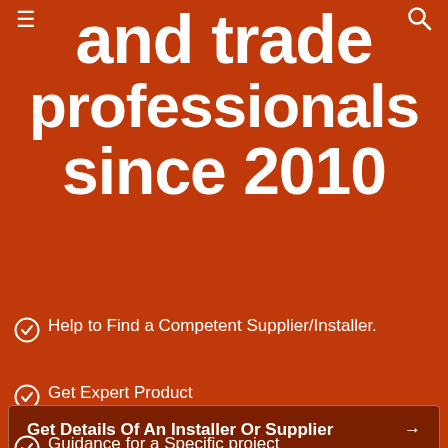≡  [search icon]
and trade professionals since 2010
Help to Find a Competent Supplier/Installer.
Get Expert Product
[Figure (other): CTA button: Get Details Of An Installer Or Supplier →]
Guidance for a Specific project